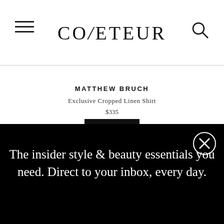COVETEUR
MATTHEW BRUCH
Exclusive Cropped Linen Shirt
$335
The insider style & beauty essentials you need. Direct to your inbox, every day.
EMAIL@EXAMPLE.COM
SIGN UP